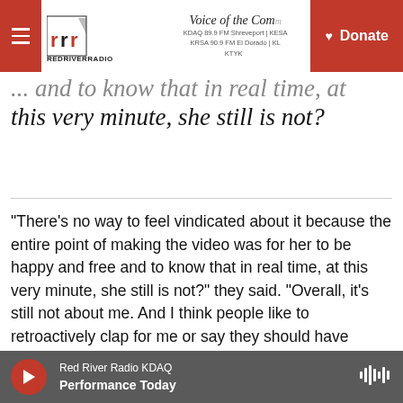Red River Radio | Voice of the Community | KDAQ 89.9 FM Shreveport | KESA | KRSA 90.9 FM El Dorado | KTYK | Donate
...and to know that in real time, at this very minute, she still is not?
"There's no way to feel vindicated about it because the entire point of making the video was for her to be happy and free and to know that in real time, at this very minute, she still is not?" they said. "Overall, it's still not about me. And I think people like to retroactively clap for me or say they should have listened, but I'm more interested in people self-reflecting on why they didn't."
Red River Radio KDAQ | Performance Today